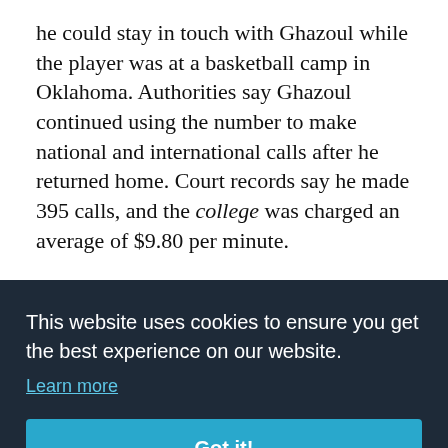he could stay in touch with Ghazoul while the player was at a basketball camp in Oklahoma. Authorities say Ghazoul continued using the number to make national and international calls after he returned home. Court records say he made 395 calls, and the college was charged an average of $9.80 per minute.
“(Ghazoul) admits what he did was wrong,”
[Figure (other): Cookie consent overlay banner with dark background (#1e2a38). Contains text: 'This website uses cookies to ensure you get the best experience on our website.' with a 'Learn more' underlined link and a teal 'Got it!' button. Partially obscures underlying page text.]
Documents show that Ghazoul signed a letter